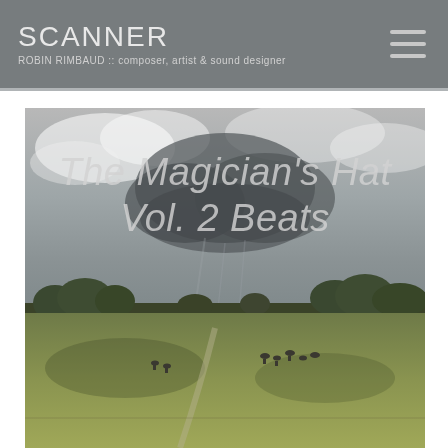SCANNER — ROBIN RIMBAUD :: composer, artist & sound designer
[Figure (photo): Outdoor landscape photograph showing a green field with grazing animals (horses/deer), trees on the horizon, and a dramatic overcast sky with storm clouds. Overlaid italic text reads 'The Magician's Hat Vol. 2 Beats'.]